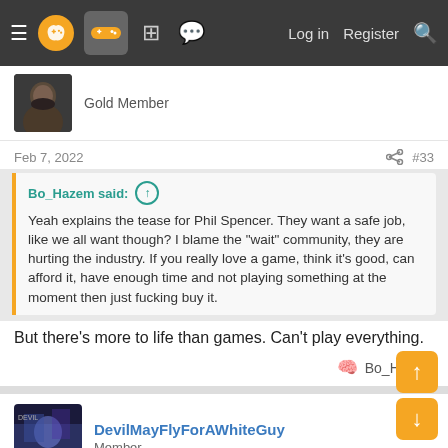Navigation bar with menu, logo, gamepad icon, grid icon, chat icon, Log in, Register, Search
Gold Member
Feb 7, 2022  #33
Bo_Hazem said: ↑
Yeah explains the tease for Phil Spencer. They want a safe job, like we all want though? I blame the "wait" community, they are hurting the industry. If you really love a game, think it's good, can afford it, have enough time and not playing something at the moment then just fucking buy it.
But there's more to life than games. Can't play everything.
🧠 Bo_Hazem
DevilMayFlyForAWhiteGuy
Member